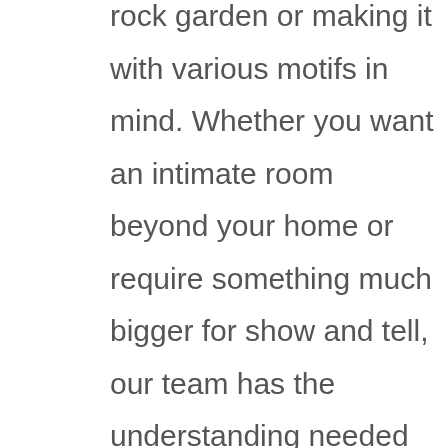rock garden or making it with various motifs in mind. Whether you want an intimate room beyond your home or require something much bigger for show and tell, our team has the understanding needed to produce whatever kind of landscape layout fits your demands. What sort of rocks would be finest fit for my project? Do I require